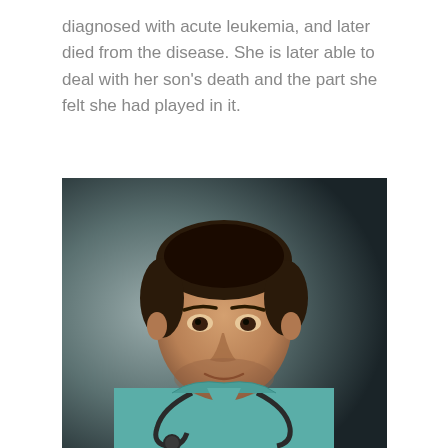diagnosed with acute leukemia, and later died from the disease. She is later able to deal with her son's death and the part she felt she had played in it.
[Figure (photo): Portrait photo of a man wearing teal/green medical scrubs with a stethoscope around his neck, dark hair, looking at the camera with a slight expression, set against a dark background.]